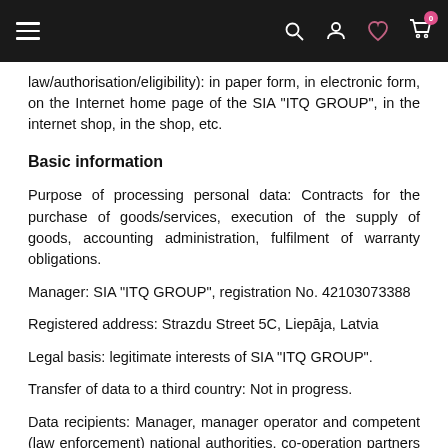Navigation header with hamburger menu and icons
law/authorisation/eligibility): in paper form, in electronic form, on the Internet home page of the SIA “ITQ GROUP”, in the internet shop, in the shop, etc.
Basic information
Purpose of processing personal data: Contracts for the purchase of goods/services, execution of the supply of goods, accounting administration, fulfilment of warranty obligations.
Manager: SIA “ITQ GROUP”, registration No. 42103073388
Registered address: Strazdu Street 5C, Liepāja, Latvia
Legal basis: legitimate interests of SIA “ITQ GROUP”.
Transfer of data to a third country: Not in progress.
Data recipients: Manager, manager operator and competent (law enforcement) national authorities, co-operation partners and service (outsourcing) providers, database management services providers, cloud computing providers, accounting outsourcing providers, lawyers, lawyers' offices, operators, etc.